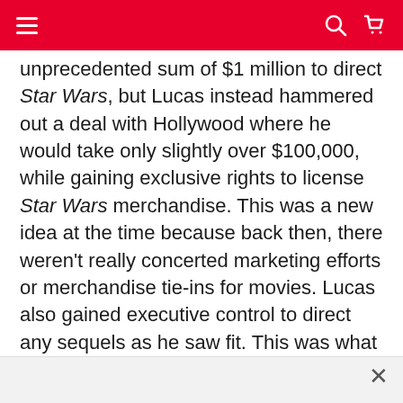Navigation bar with menu, search, and cart icons
unprecedented sum of $1 million to direct Star Wars, but Lucas instead hammered out a deal with Hollywood where he would take only slightly over $100,000, while gaining exclusive rights to license Star Wars merchandise. This was a new idea at the time because back then, there weren't really concerted marketing efforts or merchandise tie-ins for movies. Lucas also gained executive control to direct any sequels as he saw fit. This was what made Lucas very wealthy—not the movies themselves.